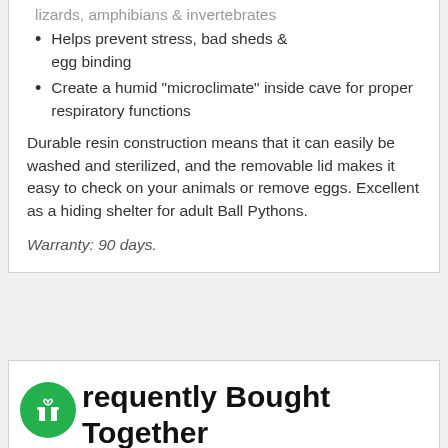lizards, amphibians & invertebrates
Helps prevent stress, bad sheds & egg binding
Create a humid "microclimate" inside cave for proper respiratory functions
Durable resin construction means that it can easily be washed and sterilized, and the removable lid makes it easy to check on your animals or remove eggs. Excellent as a hiding shelter for adult Ball Pythons.
Warranty: 90 days.
requently Bought Together